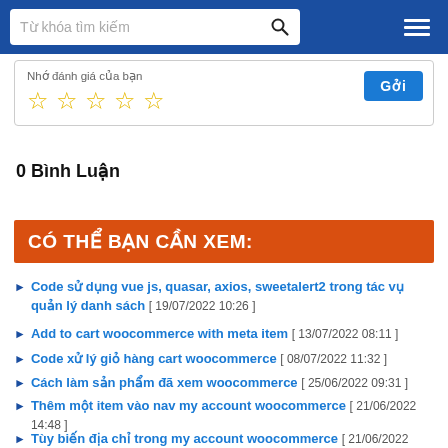Từ khóa tìm kiếm [search bar with menu icon]
Nhớ đánh giá của bạn [star rating row with Gởi button]
0 Bình Luận
CÓ THỂ BẠN CẦN XEM:
Code sử dụng vue js, quasar, axios, sweetalert2 trong tác vụ quản lý danh sách [ 19/07/2022 10:26 ]
Add to cart woocommerce with meta item [ 13/07/2022 08:11 ]
Code xử lý giỏ hàng cart woocommerce [ 08/07/2022 11:32 ]
Cách làm sản phẩm đã xem woocommerce [ 25/06/2022 09:31 ]
Thêm một item vào nav my account woocommerce [ 21/06/2022 14:48 ]
Tùy biến địa chỉ trong my account woocommerce [ 21/06/2022